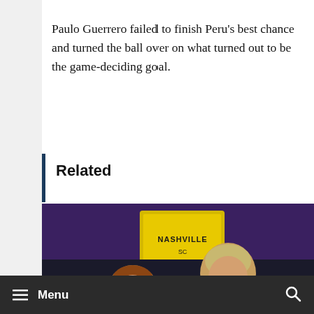Paulo Guerrero failed to finish Peru's best chance and turned the ball over on what turned out to be the game-deciding goal.
Related
[Figure (photo): Two soccer players during an MLS match. A Nashville SC player in yellow-green kit and an Austin FC player in green and black striped jersey with 'YET' on the front are shown competing for the ball. A yellow sign is visible in the background.]
MLS Preview: Nashville SC-Austin FC,
Menu